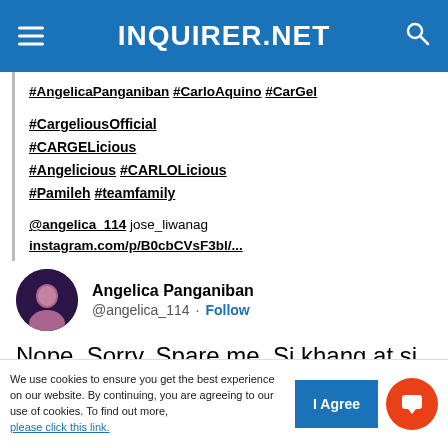INQUIRER.NET
#AngelicaPanganiban #CarloAquino #CarGel

#CargeliousOfficial
#CARGELicious
#Angelicious #CARLOLicious
#Pamileh #teamfamily

@angelica_114 jose_liwanag
instagram.com/p/B0cbCVsF3bl/...
Angelica Panganiban @angelica_114 · Follow
Nope. Sorry. Spare me. Si khang at si josh lang ang tinuturing kong pamilya. Gusto kong
We use cookies to ensure you get the best experience on our website. By continuing, you are agreeing to our use of cookies. To find out more, please click this link.